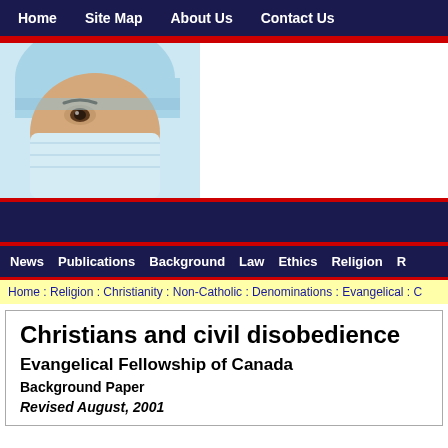Home   Site Map   About Us   Contact Us
[Figure (photo): Close-up of a medical professional wearing a light blue surgical cap and face mask]
News   Publications   Background   Law   Ethics   Religion   R
Home : Religion : Christianity : Non-Catholic : Denominations : Evangelical : C
Christians and civil disobedience
Evangelical Fellowship of Canada
Background Paper
Revised August, 2001